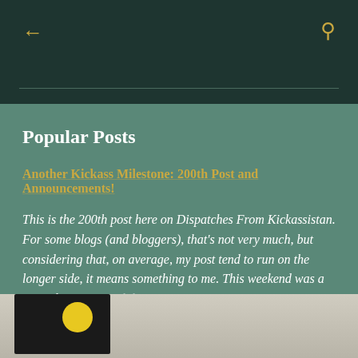← (back) 🔍 (search)
Popular Posts
Another Kickass Milestone: 200th Post and Announcements!
This is the 200th post here on Dispatches From Kickassistan. For some blogs (and bloggers), that's not very much, but considering that, on average, my post tend to run on the longer side, it means something to me. This weekend was a pretty busy one, with h… ...
[Figure (photo): Bottom strip showing a dark rectangular object (possibly a book or game box) with a yellow circular element on a light grey/beige background]